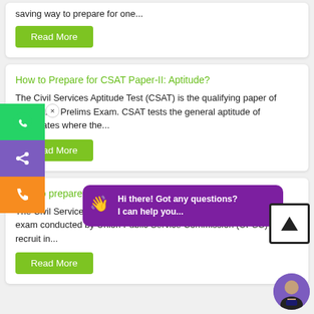saving way to prepare for one...
Read More
How to Prepare for CSAT Paper-II: Aptitude?
The Civil Services Aptitude Test (CSAT) is the qualifying paper of UPSC IAS Prelims Exam. CSAT tests the general aptitude of candidates where the...
Read More
How to prepare GENERA...
The Civil Services Examination (CSE) is a nationwide competitive exam conducted by Union Public Service Commission (UPSC) to recruit in...
Read More
Hi there! Got any questions? I can help you...